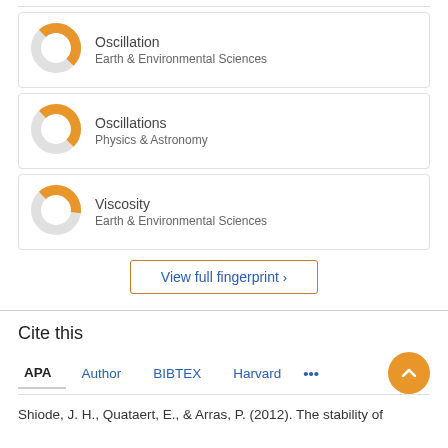[Figure (donut-chart): Donut chart for Oscillation, Earth & Environmental Sciences, approximately 50% filled in orange]
Oscillation
Earth & Environmental Sciences
[Figure (donut-chart): Donut chart for Oscillations, Physics & Astronomy, approximately 50% filled in orange]
Oscillations
Physics & Astronomy
[Figure (donut-chart): Donut chart for Viscosity, Earth & Environmental Sciences, approximately 40% filled in orange]
Viscosity
Earth & Environmental Sciences
View full fingerprint >
Cite this
APA  Author  BIBTEX  Harvard  ...
Shiode, J. H., Quataert, E., & Arras, P. (2012). The stability of